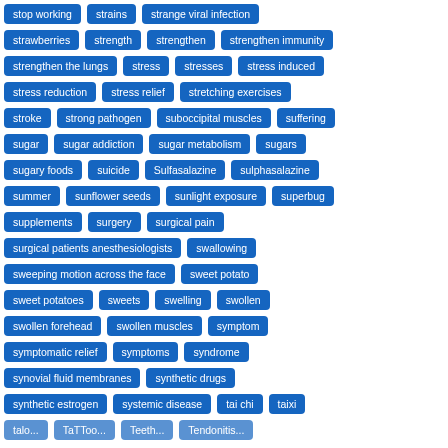[Figure (other): Tag cloud of medical and health-related terms displayed as blue pill/badge buttons on a white background. Terms include: stop working, strains, strange viral infection, strawberries, strength, strengthen, strengthen immunity, strengthen the lungs, stress, stresses, stress induced, stress reduction, stress relief, stretching exercises, stroke, strong pathogen, suboccipital muscles, suffering, sugar, sugar addiction, sugar metabolism, sugars, sugary foods, suicide, Sulfasalazine, sulphasalazine, summer, sunflower seeds, sunlight exposure, superbug, supplements, surgery, surgical pain, surgical patients anesthesiologists, swallowing, sweeping motion across the face, sweet potato, sweet potatoes, sweets, swelling, swollen, swollen forehead, swollen muscles, symptom, symptomatic relief, symptoms, syndrome, synovial fluid membranes, synthetic drugs, synthetic estrogen, systemic disease, tai chi, taixi, and more partially visible at bottom.]